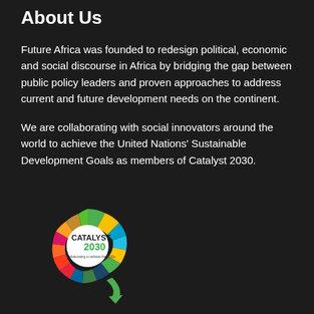About Us
Future Africa was founded to redesign political, economic and social discourse in Africa by bridging the gap between public policy leaders and proven approaches to address current and future development needs on the continent.
We are collaborating with social innovators around the world to achieve the United Nations' Sustainable Development Goals as members of Catalyst 2030.
[Figure (logo): Catalyst 2030 logo - circular SDG wheel with colored segments in green, yellow, blue, orange, red and other colors, with text 'CATALYST 2030' and tagline 'Collaborating to achieve the SDGs']